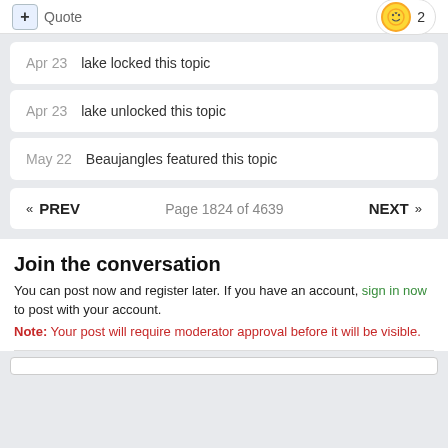+ Quote  2
Apr 23  lake locked this topic
Apr 23  lake unlocked this topic
May 22  Beaujangles featured this topic
« PREV  Page 1824 of 4639  NEXT »
Join the conversation
You can post now and register later. If you have an account, sign in now to post with your account.
Note: Your post will require moderator approval before it will be visible.